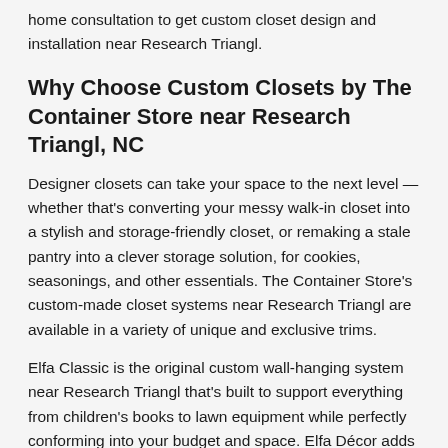home consultation to get custom closet design and installation near Research Triangl.
Why Choose Custom Closets by The Container Store near Research Triangl, NC
Designer closets can take your space to the next level — whether that's converting your messy walk-in closet into a stylish and storage-friendly closet, or remaking a stale pantry into a clever storage solution, for cookies, seasonings, and other essentials. The Container Store's custom-made closet systems near Research Triangl are available in a variety of unique and exclusive trims.
Elfa Classic is the original custom wall-hanging system near Research Triangl that's built to support everything from children's books to lawn equipment while perfectly conforming into your budget and space. Elfa Décor adds a polished spin to the classic with an assortment of deluxe wood closet trims and shades from white to walnut. Avera is a game-changing designer closet system available near Research Triangl that offers a built-in walk-in closet look complete with LED lighting and other distinctive accents that can transform any closet.